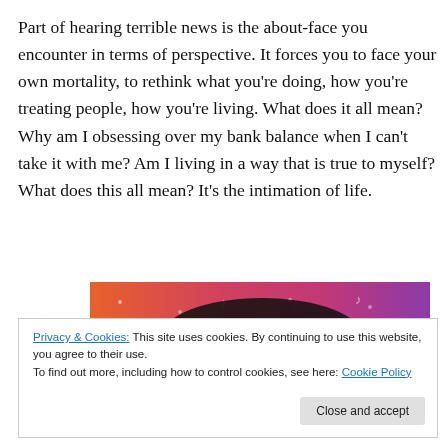Part of hearing terrible news is the about-face you encounter in terms of perspective. It forces you to face your own mortality, to rethink what you're doing, how you're treating people, how you're living. What does it all mean? Why am I obsessing over my bank balance when I can't take it with me? Am I living in a way that is true to myself? What does this all mean? It's the intimation of life.
[Figure (logo): Tumblr logo banner with colorful orange-pink-purple gradient background and white 'tumblr' wordmark]
Privacy & Cookies: This site uses cookies. By continuing to use this website, you agree to their use.
To find out more, including how to control cookies, see here: Cookie Policy